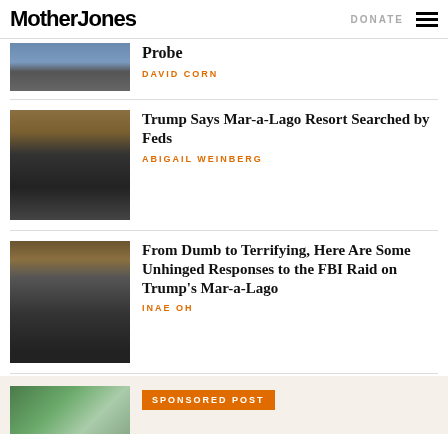Mother Jones | DONATE
Probe
DAVID CORN
Trump Says Mar-a-Lago Resort Searched by Feds
ABIGAIL WEINBERG
From Dumb to Terrifying, Here Are Some Unhinged Responses to the FBI Raid on Trump's Mar-a-Lago
INAE OH
SPONSORED POST